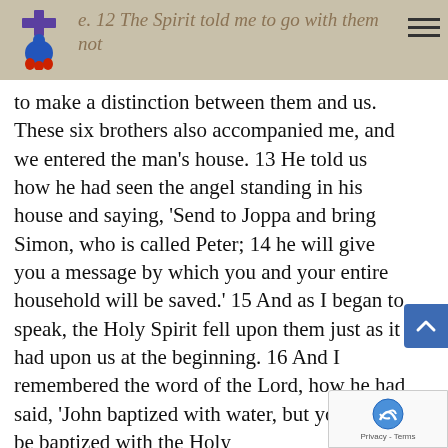12 The Spirit told me to go with them without making a distinction between them and us.
to make a distinction between them and us. These six brothers also accompanied me, and we entered the man’s house. 13 He told us how he had seen the angel standing in his house and saying, ‘Send to Joppa and bring Simon, who is called Peter; 14 he will give you a message by which you and your entire household will be saved.’ 15 And as I began to speak, the Holy Spirit fell upon them just as it had upon us at the beginning. 16 And I remembered the word of the Lord, how he had said, ‘John baptized with water, but you will be baptized with the Holy